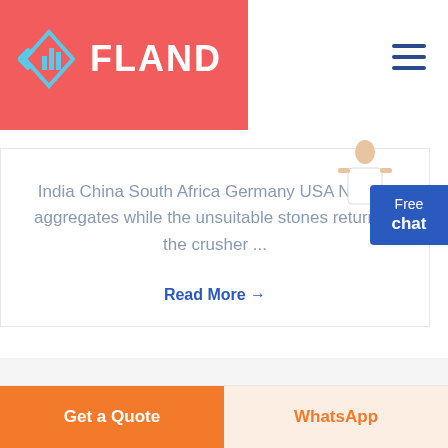[Figure (logo): FLAND company logo with geometric diamond/arrow icon on red background]
[Figure (infographic): Hamburger menu icon (three horizontal lines) in dark blue]
India China South Africa Germany USA Nigeria aggregates while the unsuitable stones return to the crusher ...
Read More →
[Figure (photo): Person (woman in business attire) standing next to Free chat button]
Free chat
Get a Quote
WhatsApp